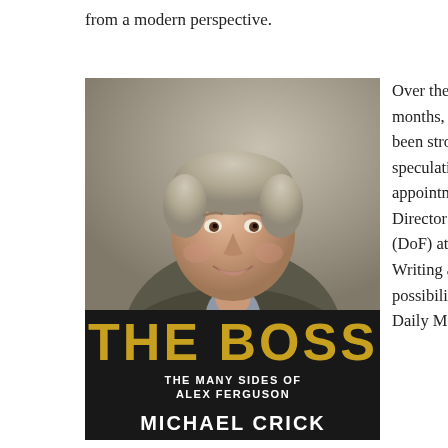from a modern perspective.
[Figure (photo): Book cover for 'The Boss: The Many Sides of Alex Ferguson' by Michael Crick, featuring a photograph of Alex Ferguson smiling, wearing a suit and watch, leaning forward with arms crossed. The bottom portion has a black background with gold 'THE BOSS' title text and white subtitle and author name.]
Over the eighteen months, there has been strong speculation about the appointment of a Director of Football (DoF) at United. Writing about this possibility for the Daily Mail in August